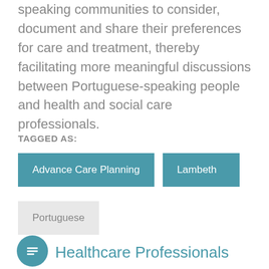speaking communities to consider, document and share their preferences for care and treatment, thereby facilitating more meaningful discussions between Portuguese-speaking people and health and social care professionals.
TAGGED AS:
Advance Care Planning
Lambeth
Portuguese
Healthcare Professionals